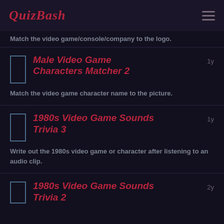QuizBash
Match the video game/console/company to the logo.
Male Video Game Characters Matcher 2
Match the video game character name to the picture.
1980s Video Game Sounds Trivia 3
Write out the 1980s video game or character after listening to an audio clip.
1980s Video Game Sounds Trivia 2